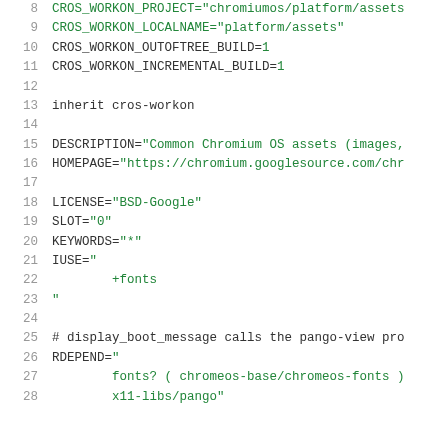[Figure (screenshot): Source code listing showing lines 8-28 of a Chromium OS ebuild file. Lines show CROS_WORKON variables, inherit statement, DESCRIPTION, HOMEPAGE, LICENSE, SLOT, KEYWORDS, IUSE with +fonts, and RDEPEND with fonts and x11-libs/pango dependencies.]